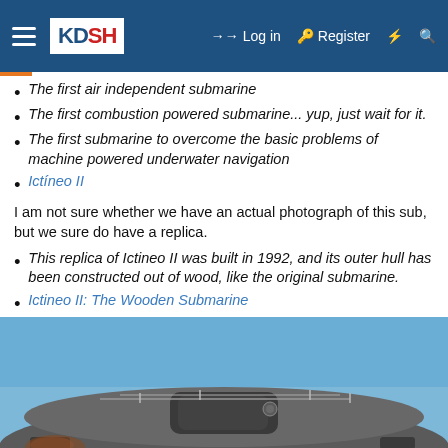KD SH | Log in | Register
The first air independent submarine
The first combustion powered submarine... yup, just wait for it.
The first submarine to overcome the basic problems of machine powered underwater navigation
Ictineo II
I am not sure whether we have an actual photograph of this sub, but we sure do have a replica.
This replica of Ictineo II was built in 1992, and its outer hull has been constructed out of wood, like the original submarine.
Ictineo II: The Wooden Submarine
[Figure (photo): Photo of the Ictineo II replica submarine, showing the curved wooden hull and conning tower structure against a blue sky]